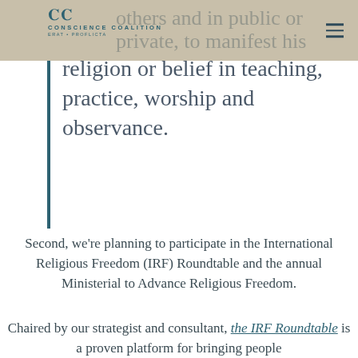CONSCIENCE COALITION
others and in public or private, to manifest his religion or belief in teaching, practice, worship and observance.
Second, we’re planning to participate in the International Religious Freedom (IRF) Roundtable and the annual Ministerial to Advance Religious Freedom.
Chaired by our strategist and consultant, the IRF Roundtable is a proven platform for bringing people